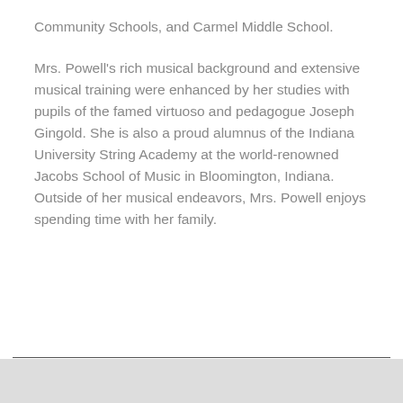Community Schools, and Carmel Middle School.
Mrs. Powell's rich musical background and extensive musical training were enhanced by her studies with pupils of the famed virtuoso and pedagogue Joseph Gingold. She is also a proud alumnus of the Indiana University String Academy at the world-renowned Jacobs School of Music in Bloomington, Indiana.  Outside of her musical endeavors, Mrs. Powell enjoys spending time with her family.